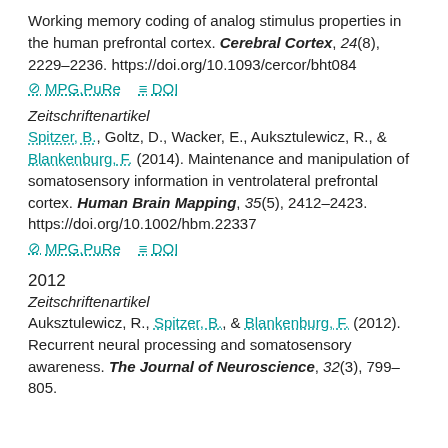Working memory coding of analog stimulus properties in the human prefrontal cortex. Cerebral Cortex, 24(8), 2229–2236. https://doi.org/10.1093/cercor/bht084
MPG.PuRe   DOI
Zeitschriftenartikel
Spitzer, B., Goltz, D., Wacker, E., Auksztulewicz, R., & Blankenburg, F. (2014). Maintenance and manipulation of somatosensory information in ventrolateral prefrontal cortex. Human Brain Mapping, 35(5), 2412–2423. https://doi.org/10.1002/hbm.22337
MPG.PuRe   DOI
2012
Zeitschriftenartikel
Auksztulewicz, R., Spitzer, B., & Blankenburg, F. (2012). Recurrent neural processing and somatosensory awareness. The Journal of Neuroscience, 32(3), 799–805.